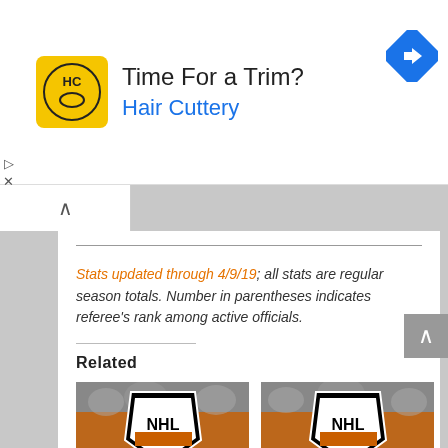[Figure (infographic): Advertisement banner for Hair Cuttery with logo, headline 'Time For a Trim?', and navigation arrow icon]
Stats updated through 4/9/19; all stats are regular season totals. Number in parentheses indicates referee's rank among active officials.
Related
[Figure (photo): NHL logo on orange jersey background - TODAY'S NHL PLAYOFF REFEREES AND LINESMEN]
[Figure (photo): NHL logo on orange jersey background - TODAY'S NHL PLAYOFF REFEREES AND LINESMEN]